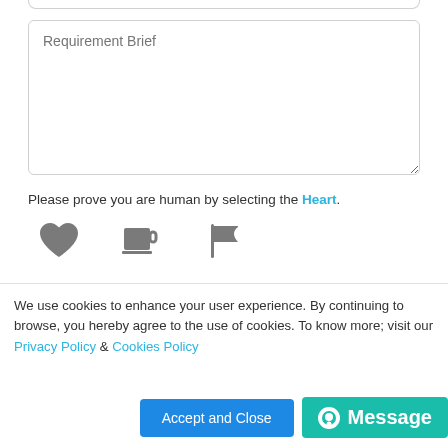[Figure (screenshot): Textarea input field with placeholder text 'Requirement Brief']
Please prove you are human by selecting the Heart.
[Figure (other): Three icons: heart, coffee cup, flag for CAPTCHA selection]
SPEC INDIA can contact me with given information. View our Privacy Policy & Cookie Policy
[Figure (other): Submit button (blue rounded)]
We use cookies to enhance your user experience. By continuing to browse, you hereby agree to the use of cookies. To know more; visit our Privacy Policy & Cookies Policy
[Figure (other): Accept and Close button and Message button at bottom]